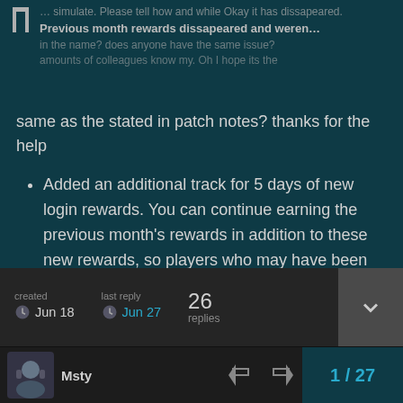Previous month rewards dissapeared and weren't in the name? does anyone have the same issue? same as the stated in patch notes? thanks for the help
Added an additional track for 5 days of new login rewards. You can continue earning the previous month's rewards in addition to these new rewards, so players who may have been impacted by recent queues will have some extra time to claim their goodies.
7 [likes] [link]
| created | last reply | replies |
| --- | --- | --- |
| Jun 18 | Jun 27 | 26 replies |
Msty   1/27